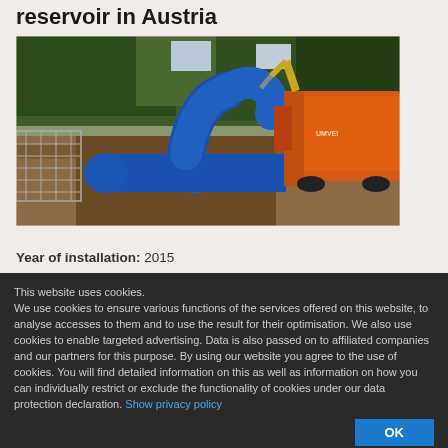reservoir in Austria
[Figure (photo): Construction site showing blue HDPE pipes being laid in a trench with an orange excavator/vacuum truck in the background, surrounded by trees and metal fencing]
Year of installation: 2015
Material: AGRU Sureline (PE 100-RC) with protective layer
Dimension: 560 SDR 17
Medium: Potable Water
Temperature: 15 °C
This website uses cookies.
We use cookies to ensure various functions of the services offered on this website, to analyse accesses to them and to use the result for their optimisation. We also use cookies to enable targeted advertising. Data is also passed on to affiliated companies and our partners for this purpose. By using our website you agree to the use of cookies. You will find detailed information on this as well as information on how you can individually restrict or exclude the functionality of cookies under our data protection declaration. Show privacy policy